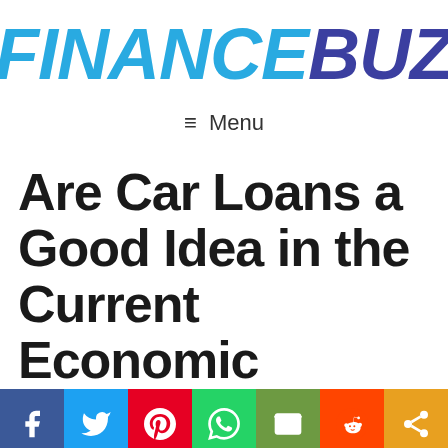[Figure (logo): FinanceBuz logo with FINANCE in light blue and BUZ in dark navy/purple, bold italic uppercase letters]
≡ Menu
Are Car Loans a Good Idea in the Current Economic
[Figure (infographic): Social sharing bar with icons for Facebook (blue), Twitter (light blue), Pinterest (red), WhatsApp (green), Email (olive green), Reddit (orange-red), Share (amber/orange)]